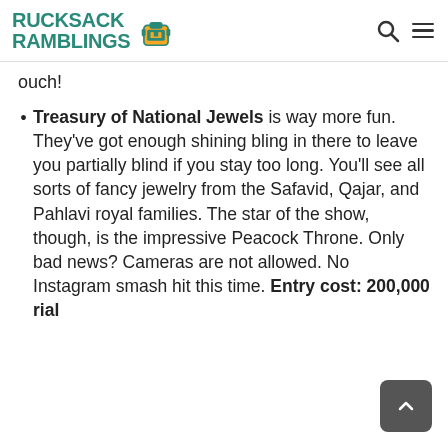Rucksack Ramblings
ouch!
Treasury of National Jewels is way more fun. They've got enough shining bling in there to leave you partially blind if you stay too long. You'll see all sorts of fancy jewelry from the Safavid, Qajar, and Pahlavi royal families. The star of the show, though, is the impressive Peacock Throne. Only bad news? Cameras are not allowed. No Instagram smash hit this time. Entry cost: 200,000 rial